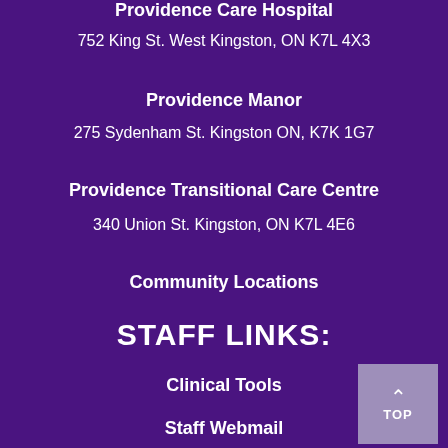Providence Care Hospital
752 King St. West Kingston, ON K7L 4X3
Providence Manor
275 Sydenham St. Kingston ON, K7K 1G7
Providence Transitional Care Centre
340 Union St. Kingston, ON K7L 4E6
Community Locations
STAFF LINKS:
Clinical Tools
Staff Webmail